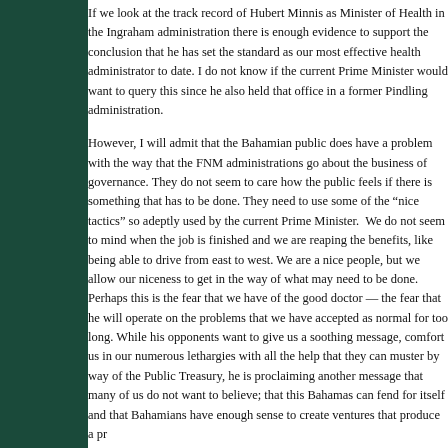If we look at the track record of Hubert Minnis as Minister of Health in the Ingraham administration there is enough evidence to support the conclusion that he has set the standard as our most effective health administrator to date. I do not know if the current Prime Minister would want to query this since he also held that office in a former Pindling administration.
However, I will admit that the Bahamian public does have a problem with the way that the FNM administrations go about the business of governance. They do not seem to care how the public feels if there is something that has to be done. They need to use some of the "nice tactics" so adeptly used by the current Prime Minister. We do not seem to mind when the job is finished and we are reaping the benefits, like being able to drive from east to west. We are a nice people, but we allow our niceness to get in the way of what may need to be done. Perhaps this is the fear that we have of the good doctor — the fear that he will operate on the problems that we have accepted as normal for too long. While his opponents want to give us a soothing message, comfort us in our numerous lethargies with all the help that they can muster by way of the Public Treasury, he is proclaiming another message that many of us do not want to believe; that this Bahamas can fend for itself and that Bahamians have enough sense to create ventures that produce a p...
In a couple of months we are going to experience for ourselves wh... business" does as investors show up – these persons will not be here at the invitation of the government. There are many groups who see the c...